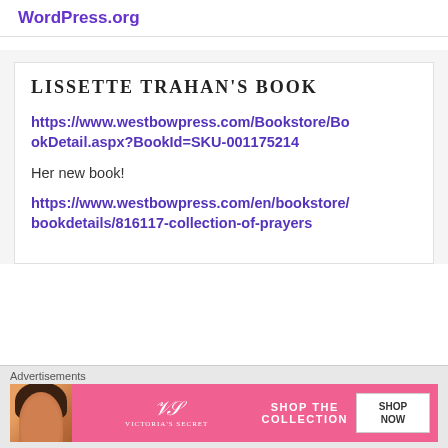WordPress.org
LISSETTE TRAHAN'S BOOK
https://www.westbowpress.com/Bookstore/BookDetail.aspx?BookId=SKU-001175214
Her new book!
https://www.westbowpress.com/en/bookstore/bookdetails/816117-collection-of-prayers
Advertisements
[Figure (photo): Victoria's Secret advertisement banner showing a woman with curly hair, VS logo, 'SHOP THE COLLECTION' text, and a 'SHOP NOW' button]